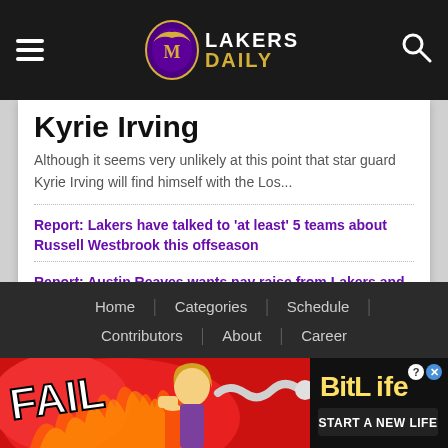LAKERS DAILY
Kyrie Irving
Although it seems very unlikely at this point that star guard Kyrie Irving will find himself with the Los...
Report: Lakers have talked to 'at least' 5 teams about Russell Westbrook this offseason
Report: Austin Reaves wants pay raise from Lakers and remain with team beyond this season
Report: Utah Jazz are 'more likely' landing spot than Indiana Pacers for Russell Westbrook
NBA insider thinks Danny Ainge may be trying to get 2 unprotected 1st-round picks from Lakers
Home | Categories | Schedule | Contributors | About | Career
[Figure (other): BitLife game advertisement banner with FAIL text and 'START A NEW LIFE' call to action]